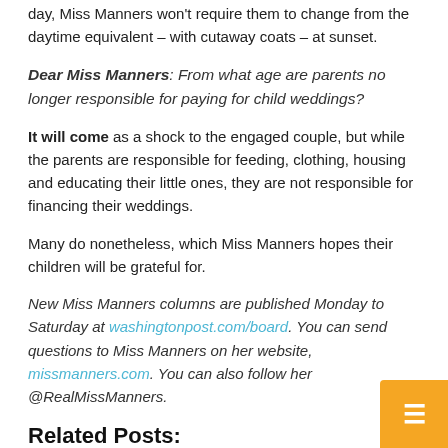day, Miss Manners won't require them to change from the daytime equivalent – with cutaway coats – at sunset.
Dear Miss Manners: From what age are parents no longer responsible for paying for child weddings?
It will come as a shock to the engaged couple, but while the parents are responsible for feeding, clothing, housing and educating their little ones, they are not responsible for financing their weddings.
Many do nonetheless, which Miss Manners hopes their children will be grateful for.
New Miss Manners columns are published Monday to Saturday at washingtonpost.com/board. You can send questions to Miss Manners on her website, missmanners.com. You can also follow her @RealMissManners.
Related Posts:
1. Today is Server Appreciation Day, is saying thank you enough?
2. Proving Grammar Can Be Funny – Mississippi's Best